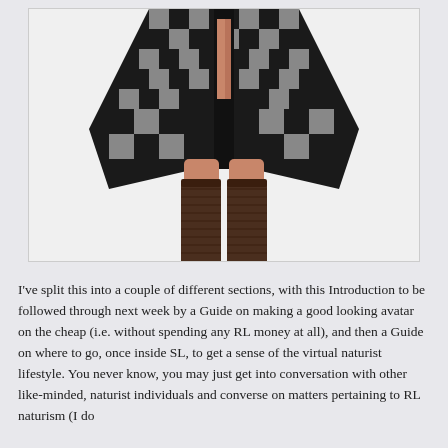[Figure (illustration): A 3D virtual avatar (Second Life style) showing legs and lower torso wearing a black and grey checkered/patterned coat-style garment open at the front, with dark brown ribbed knee-high socks or stockings. The figure is cropped at the torso, showing legs spread slightly apart against a white background.]
I've split this into a couple of different sections, with this Introduction to be followed through next week by a Guide on making a good looking avatar on the cheap (i.e. without spending any RL money at all), and then a Guide on where to go, once inside SL, to get a sense of the virtual naturist lifestyle. You never know, you may just get into conversation with other like-minded, naturist individuals and converse on matters pertaining to RL naturism (I do